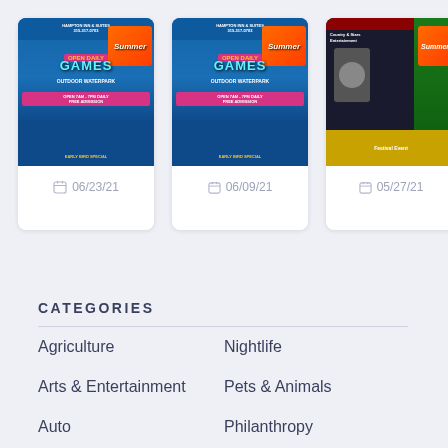[Figure (photo): Event flyer card for summer attraction dated 06/23/21]
06/23/21
[Figure (photo): Event flyer card for summer attraction dated 06/09/21]
06/09/21
[Figure (photo): Event flyer card for entertainment event dated 05/27/21]
05/27/21
CATEGORIES
Agriculture
Nightlife
Arts & Entertainment
Pets & Animals
Auto
Philanthropy
Beauty & Wellness
Photo & Video